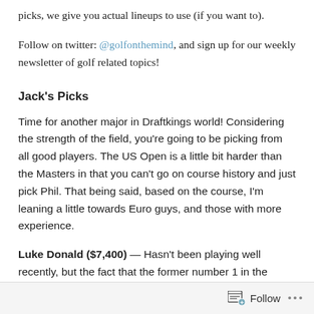picks, we give you actual lineups to use (if you want to).
Follow on twitter: @golfonthemind, and sign up for our weekly newsletter of golf related topics!
Jack's Picks
Time for another major in Draftkings world! Considering the strength of the field, you're going to be picking from all good players. The US Open is a little bit harder than the Masters in that you can't go on course history and just pick Phil. That being said, based on the course, I'm leaning a little towards Euro guys, and those with more experience.
Luke Donald ($7,400) — Hasn't been playing well recently, but the fact that the former number 1 in the world had to qualify for the event means that he's go at least some confidence.
Billy Horschel ($8,000) — Also starting to get back into form. FedEx cup champ has finished 17, 12, 11 and 9 in his last four events. So logic says
Follow  •••